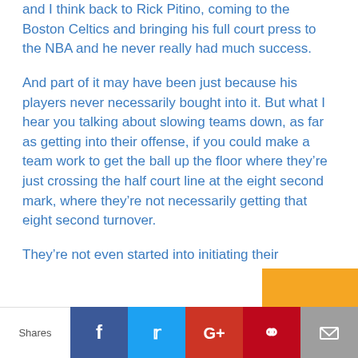and I think back to Rick Pitino, coming to the Boston Celtics and bringing his full court press to the NBA and he never really had much success.
And part of it may have been just because his players never necessarily bought into it. But what I hear you talking about slowing teams down, as far as getting into their offense, if you could make a team work to get the ball up the floor where they’re just crossing the half court line at the eight second mark, where they’re not necessarily getting that eight second turnover.
They’re not even started into initiating their
Shares | Facebook | Twitter | Google+ | Pinterest | Email